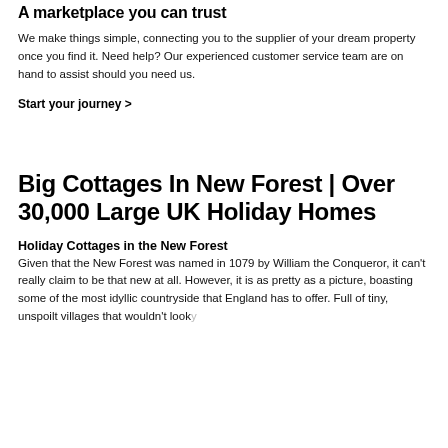A marketplace you can trust
We make things simple, connecting you to the supplier of your dream property once you find it. Need help? Our experienced customer service team are on hand to assist should you need us.
Start your journey >
[Figure (illustration): Repeating light gray building/house outline icons used as background decoration]
Big Cottages In New Forest | Over 30,000 Large UK Holiday Homes
Holiday Cottages in the New Forest
Given that the New Forest was named in 1079 by William the Conqueror, it can't really claim to be that new at all. However, it is as pretty as a picture, boasting some of the most idyllic countryside that England has to offer. Full of tiny, unspoilt villages that wouldn't look